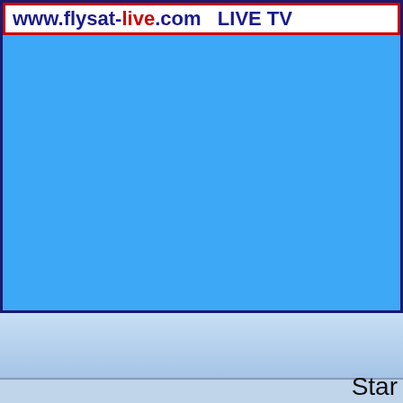[Figure (screenshot): Screenshot of a web browser showing www.flysat-live.com LIVE TV website with a bright blue content area, set against a Windows-style desktop with taskbar at the bottom showing 'Star' text]
Star